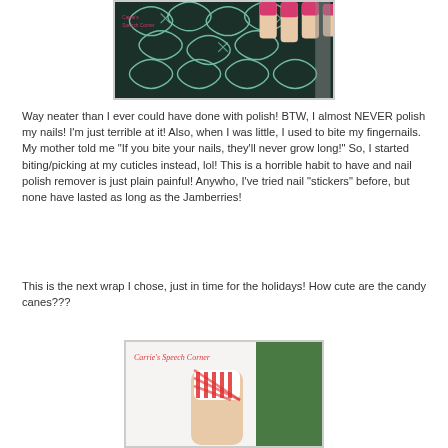[Figure (photo): Close-up photo of fingers with pink/red nail polish holding a black and white patterned item (Jamberry nail wrap packaging or fabric). The background is dark teal/black with decorative white patterns.]
Way neater than I ever could have done with polish!  BTW, I almost NEVER polish my nails! I'm just terrible at it!  Also, when I was little, I used to bite my fingernails. My mother told me "If you bite your nails, they'll never grow long!"  So, I started biting/picking at my cuticles instead, lol!  This is a horrible habit to have and nail polish remover is just plain painful!  Anywho, I've tried nail "stickers" before, but none have lasted as long as the Jamberries!
This is the next wrap I chose, just in time for the holidays!  How cute are the candy canes???
[Figure (photo): Photo of a finger with a candy cane patterned nail wrap (white with red stripes). The image includes a watermark/label reading "Carrie's Speech Corner" in red text at the top left. The right side shows a green background.]